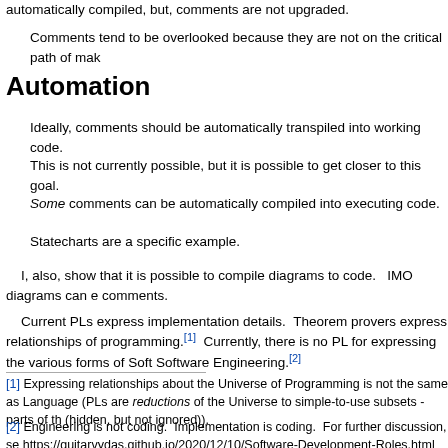automatically compiled, but, comments are not upgraded.
Comments tend to be overlooked because they are not on the critical path of mak
Automation
Ideally, comments should be automatically transpiled into working code.
This is not currently possible, but it is possible to get closer to this goal.
Some comments can be automatically compiled into executing code.
Statecharts are a specific example.
I, also, show that it is possible to compile diagrams to code.   IMO diagrams can e comments.
Current PLs express implementation details.  Theorem provers express relationships of programming.[1]  Currently, there is no PL for expressing the various forms of Software Engineering.[2]
[1] Expressing relationships about the Universe of Programming is not the same as Language (PLs are reductions of the Universe to simple-to-use subsets - parts of the (hidden, but not ignored)).
[2] Engineering is not coding.  Implementation is coding.  For further discussion, see https://guitarvydas.github.io/2020/12/10/Software-Development-Roles.html